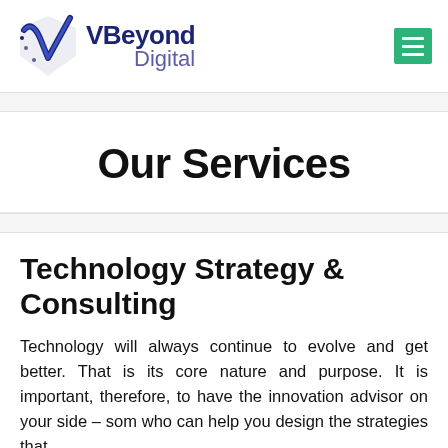[Figure (logo): VBeyond Digital logo with checkmark/V icon in blue and navy]
Our Services
Technology Strategy & Consulting
Technology will always continue to evolve and get better. That is its core nature and purpose. It is important, therefore, to have the innovation advisor on your side – someone who can help you design the strategies that